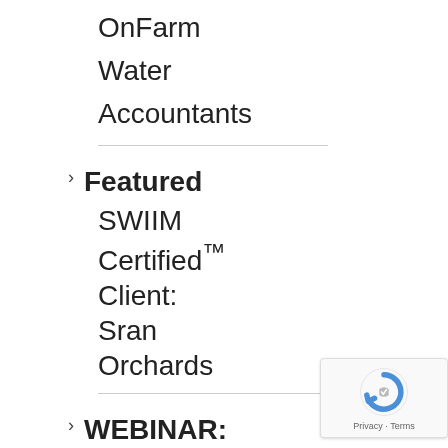OnFarm Water Accountants
> Featured SWIIM Certified™ Client: Sran Orchards
> WEBINAR: Equipment
Integration...